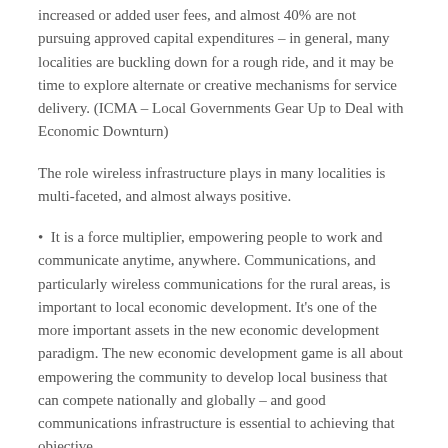increased or added user fees, and almost 40% are not pursuing approved capital expenditures – in general, many localities are buckling down for a rough ride, and it may be time to explore alternate or creative mechanisms for service delivery. (ICMA – Local Governments Gear Up to Deal with Economic Downturn)
The role wireless infrastructure plays in many localities is multi-faceted, and almost always positive.
It is a force multiplier, empowering people to work and communicate anytime, anywhere. Communications, and particularly wireless communications for the rural areas, is important to local economic development. It's one of the more important assets in the new economic development paradigm. The new economic development game is all about empowering the community to develop local business that can compete nationally and globally – and good communications infrastructure is essential to achieving that objective.
Wireless communications infrastructure is green – reducing